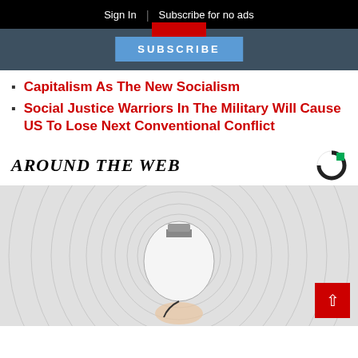Sign In | Subscribe for no ads
SUBSCRIBE
Capitalism As The New Socialism
Social Justice Warriors In The Military Will Cause US To Lose Next Conventional Conflict
AROUND THE WEB
[Figure (photo): Photo of a white LED light bulb being held against a concentric circle textured background]